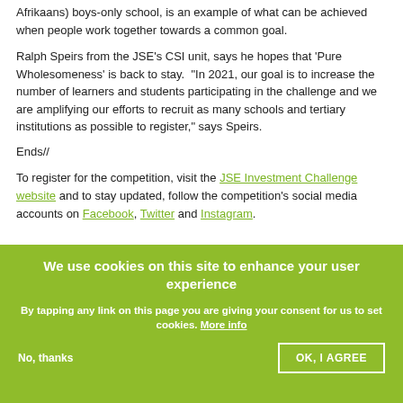Afrikaans) boys-only school, is an example of what can be achieved when people work together towards a common goal.
Ralph Speirs from the JSE's CSI unit, says he hopes that 'Pure Wholesomeness' is back to stay. "In 2021, our goal is to increase the number of learners and students participating in the challenge and we are amplifying our efforts to recruit as many schools and tertiary institutions as possible to register," says Speirs.
Ends//
To register for the competition, visit the JSE Investment Challenge website and to stay updated, follow the competition's social media accounts on Facebook, Twitter and Instagram.
We use cookies on this site to enhance your user experience
By tapping any link on this page you are giving your consent for us to set cookies. More info
No, thanks
OK, I AGREE